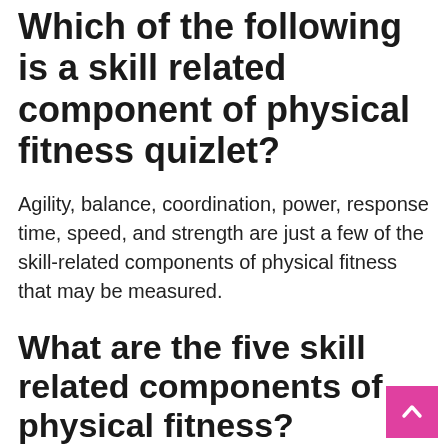Which of the following is a skill related component of physical fitness quizlet?
Agility, balance, coordination, power, response time, speed, and strength are just a few of the skill-related components of physical fitness that may be measured.
What are the five skill related components of physical fitness?
Physical fitness has five components,